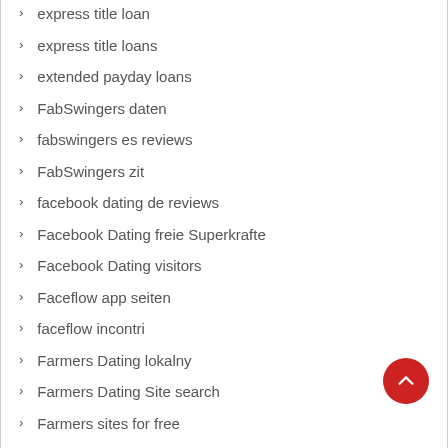express title loan
express title loans
extended payday loans
FabSwingers daten
fabswingers es reviews
FabSwingers zit
facebook dating de reviews
Facebook Dating freie Superkrafte
Facebook Dating visitors
Faceflow app seiten
faceflow incontri
Farmers Dating lokalny
Farmers Dating Site search
Farmers sites for free
farmersonly aplikace
Farmersonly site